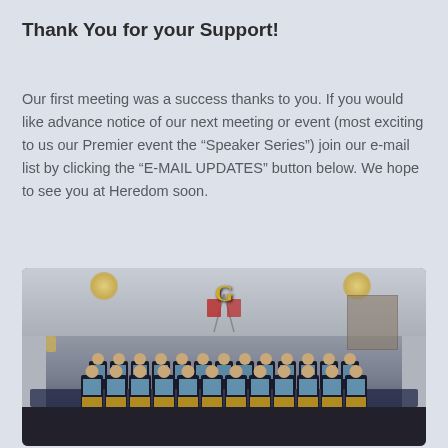Thank You for your Support!
Our first meeting was a success thanks to you. If you would like advance notice of our next meeting or event (most exciting to us our Premier event the “Speaker Series”) join our e-mail list by clicking the “E-MAIL UPDATES” button below. We hope to see you at Heredom soon.
[Figure (photo): Group photo of Masonic lodge members in formal dress with blue sashes and gold aprons, posed in front of a Masonic hall with a large decorative G symbol, crossed flags, and chandeliers.]